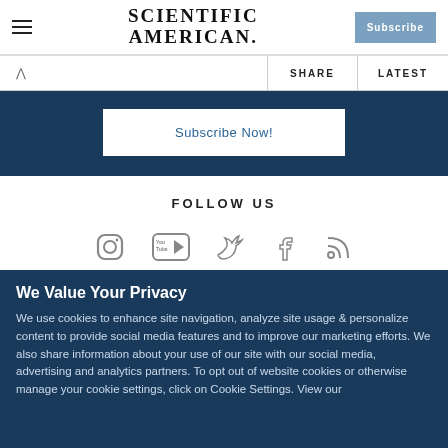Scientific American — Subscribe
SHARE   LATEST
Subscribe Now!
FOLLOW US
[Figure (illustration): Social media icons: Instagram, YouTube, Twitter, Facebook, RSS]
We Value Your Privacy
We use cookies to enhance site navigation, analyze site usage & personalize content to provide social media features and to improve our marketing efforts. We also share information about your use of our site with our social media, advertising and analytics partners. To opt out of website cookies or otherwise manage your cookie settings, click on Cookie Settings. View our